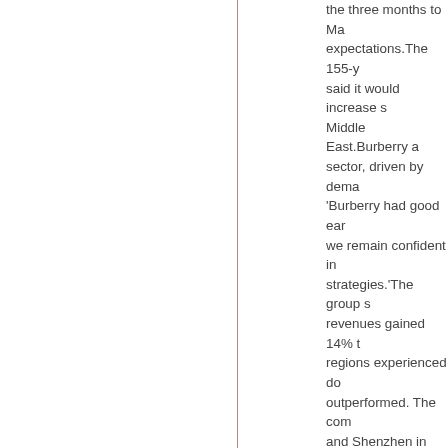the three months to Ma expectations.The 155-y said it would increase s Middle East.Burberry a sector, driven by dema 'Burberry had good ear we remain confident in strategies.'The group s revenues gained 14% t regions experienced do outperformed. The com and Shenzhen in China surge in sales in China saw revenues decline 5 termination of the Japa licensed dealer sells Bu the FTSE 100-listed co brokers Investec, said I implies a figure of £290 March 2012.China's pa 2012 UPDATED:10:10 soared over the past si shoppers at the fast-gr such as Fan Bingbing n end of March.Chinese a will report on Tuesday. purchases by Chinese first quarter of 2011.An £747.Young tourists are available in China so th Blue, which will also pu UK and was second on